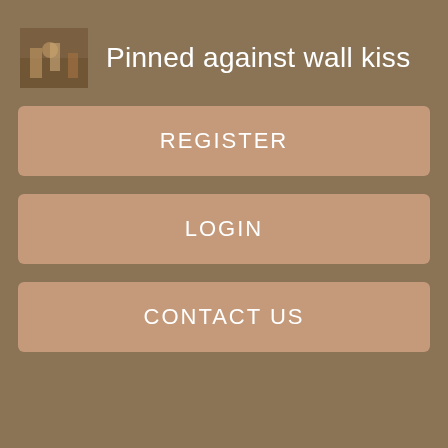Pinned against wall kiss
REGISTER
LOGIN
CONTACT US
and therefore haven't been able to travel for quite a while now, well, we've got good news for you - these adult models listed below will help you visualize those good old erotic fantasies about cute and horny flight attendants getting bare naked right in front of your eyes, and of course, high above the clouds. Let's be honest now - won't you rather watch me?